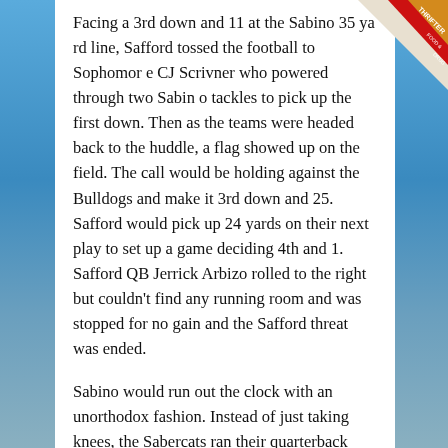Facing a 3rd down and 11 at the Sabino 35 yard line, Safford tossed the football to Sophomore CJ Scrivner who powered through two Sabino tackles to pick up the first down. Then as the teams were headed back to the huddle, a flag showed up on the field. The call would be holding against the Bulldogs and make it 3rd down and 25. Safford would pick up 24 yards on their next play to set up a game deciding 4th and 1. Safford QB Jerrick Arbizo rolled to the right but couldn't find any running room and was stopped for no gain and the Safford threat was ended.
Sabino would run out the clock with an unorthodox fashion. Instead of just taking knees, the Sabercats ran their quarterback Jimmy Hamilton back and forth sideline to sideline before taking a knee and running out the clock.